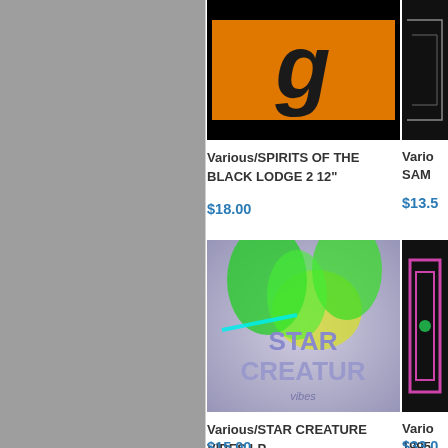[Figure (photo): Album cover for Various/SPIRITS OF THE BLACK LODGE 2 12" - orange and black design with stylized letter]
Various/SPIRITS OF THE BLACK LODGE 2 12"
$18.00
[Figure (photo): Partial album cover on right side - dark with outline designs]
Vario... SAM...
$13.5...
[Figure (photo): Album cover for Various/STAR CREATURE VIBES LP - colorful 3D text with green tropical plants on purple/lavender background]
Various/STAR CREATURE VIBES LP
$15.00
[Figure (photo): Partial album cover on right - black background with pink/magenta rectangle outline design]
Vario... 1995...
$33.0...
[Figure (photo): Partial view of Strictly Rhythm record label - grey vinyl with cursive text]
[Figure (photo): Partial gold/yellow record on right]